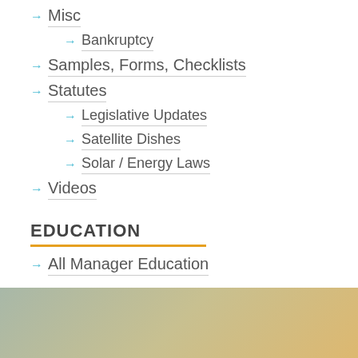Misc
Bankruptcy
Samples, Forms, Checklists
Statutes
Legislative Updates
Satellite Dishes
Solar / Energy Laws
Videos
EDUCATION
All Manager Education